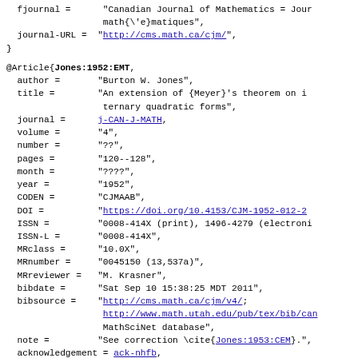fjournal =      "Canadian Journal of Mathematics = Journ math{\'e}matiques",
  journal-URL =  "http://cms.math.ca/cjm/",
}
@Article{Jones:1952:EMT,
  author =       "Burton W. Jones",
  title =        "An extension of {Meyer}'s theorem on in ternary quadratic forms",
  journal =      j-CAN-J-MATH,
  volume =       "4",
  number =       "??",
  pages =        "120--128",
  month =        "????",
  year =         "1952",
  CODEN =        "CJMAAB",
  DOI =          "https://doi.org/10.4153/CJM-1952-012-2",
  ISSN =         "0008-414X (print), 1496-4279 (electro",
  ISSN-L =       "0008-414X",
  MRclass =      "10.0X",
  MRnumber =     "0045150 (13,537a)",
  MRreviewer =   "M. Krasner",
  bibdate =      "Sat Sep 10 15:38:25 MDT 2011",
  bibsource =    "http://cms.math.ca/cjm/v4/; http://www.math.utah.edu/pub/tex/bib/can MathSciNet database",
  note =         "See correction \cite{Jones:1953:CEM}.",
  acknowledgement = ack-nhfb,
  fjournal =     "Canadian Journal of Mathematics = Journ math{\'e}matiques",